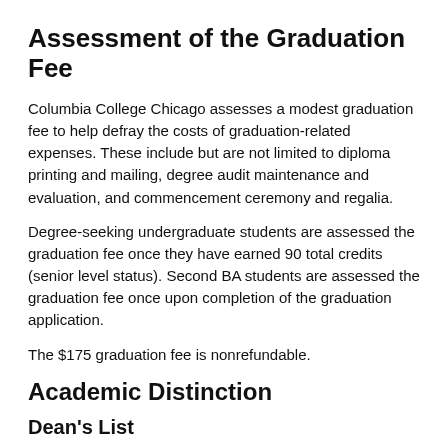Assessment of the Graduation Fee
Columbia College Chicago assesses a modest graduation fee to help defray the costs of graduation-related expenses. These include but are not limited to diploma printing and mailing, degree audit maintenance and evaluation, and commencement ceremony and regalia.
Degree-seeking undergraduate students are assessed the graduation fee once they have earned 90 total credits (senior level status). Second BA students are assessed the graduation fee once upon completion of the graduation application.
The $175 graduation fee is nonrefundable.
Academic Distinction
Dean's List